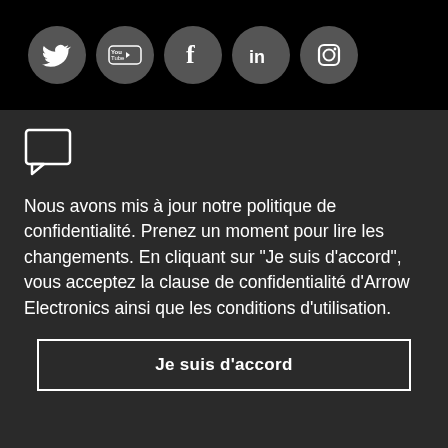[Figure (illustration): Social media icons: Twitter, YouTube, Facebook, LinkedIn, Instagram — white icons on dark gray circular backgrounds on black bar]
[Figure (illustration): White chat/speech bubble icon]
Nous avons mis à jour notre politique de confidentialité. Prenez un moment pour lire les changements. En cliquant sur "Je suis d'accord", vous acceptez la clause de confidentialité d'Arrow Electronics ainsi que les conditions d'utilisation.
Je suis d'accord